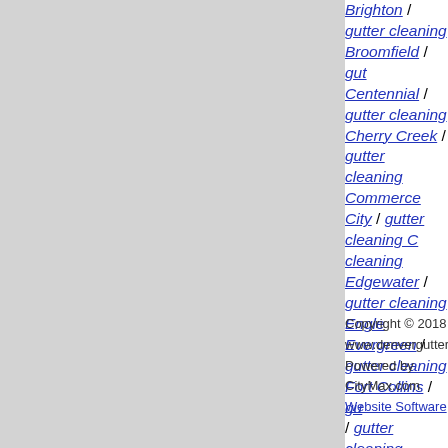Brighton / gutter cleaning Broomfield / gutter cleaning Centennial / gutter cleaning Cherry Creek / gutter cleaning Commerce City / gutter cleaning C... cleaning Edgewater / gutter cleaning Engle... Evergreen / gutter cleaning Fort Collins / gu... / gutter cleaning Greeley / gutter cleaning C... Ranch / gutter cleaning Lafayette / gutter cl... gutter cleaning Lone Tree / gutter cleaning ... cleaning Lyons / gutter cleaning Morrison / ... Parker / gutter cleaning Superior / gutter cle... / gutter cleaning Wheat Ridge / GUTTER C... GUTTER CLEANING BRECKENRIDGE... GUTTER CLEANING KEYSTONE, CO / ... CLEANING WINTER PARK, CO
Copyright © 2018 www.denverguttercleaning.com
Powered by CityMax.com Website Software